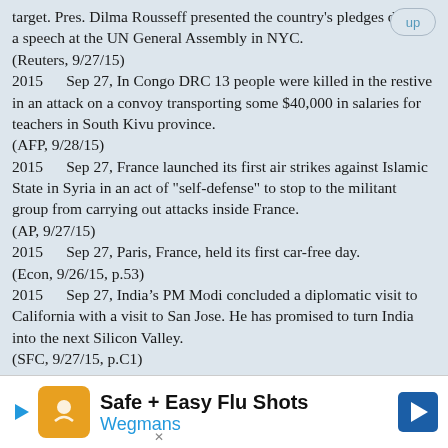target. Pres. Dilma Rousseff presented the country's pledges during a speech at the UN General Assembly in NYC.
(Reuters, 9/27/15)
2015      Sep 27, In Congo DRC 13 people were killed in the restive in an attack on a convoy transporting some $40,000 in salaries for teachers in South Kivu province.
(AFP, 9/28/15)
2015      Sep 27, France launched its first air strikes against Islamic State in Syria in an act of "self-defense" to stop to the militant group from carrying out attacks inside France.
(AP, 9/27/15)
2015      Sep 27, Paris, France, held its first car-free day.
(Econ, 9/26/15, p.53)
2015      Sep 27, India’s PM Modi concluded a diplomatic visit to California with a visit to San Jose. He has promised to turn India into the next Silicon Valley.
(SFC, 9/27/15, p.C1)
[Figure (infographic): Advertisement banner for Safe + Easy Flu Shots at Wegmans with orange logo icon and blue arrow]